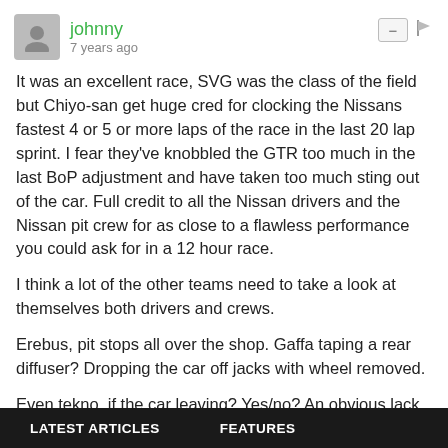johnny · 7 years ago
It was an excellent race, SVG was the class of the field but Chiyo-san get huge cred for clocking the Nissans fastest 4 or 5 or more laps of the race in the last 20 lap sprint. I fear they've knobbled the GTR too much in the last BoP adjustment and have taken too much sting out of the car. Full credit to all the Nissan drivers and the Nissan pit crew for as close to a flawless performance you could ask for in a 12 hour race.
I think a lot of the other teams need to take a look at themselves both drivers and crews.
Erebus, pit stops all over the shop. Gaffa taping a rear diffuser? Dropping the car off jacks with wheel removed.
Even tekno, if the car leaving? Yes/no? An obvious lack of pre planned strategy around what happens if a safety car comes out at certain points during the race. Then a genius
LATEST ARTICLES    FEATURES